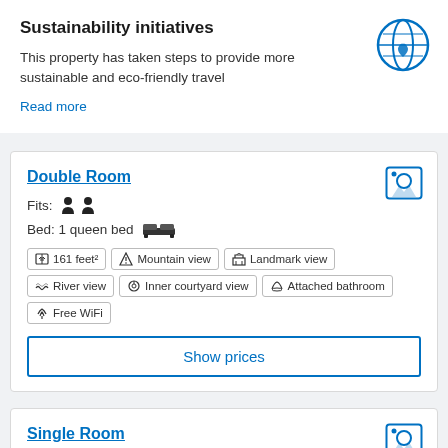Sustainability initiatives
This property has taken steps to provide more sustainable and eco-friendly travel
Read more
[Figure (illustration): Globe with heart icon in blue outline style]
Double Room
[Figure (illustration): Photo/image placeholder icon in blue outline]
Fits: [two person icons]
Bed: 1 queen bed [bed icon]
161 feet²
Mountain view
Landmark view
River view
Inner courtyard view
Attached bathroom
Free WiFi
Show prices
Single Room
[Figure (illustration): Photo/image placeholder icon in blue outline]